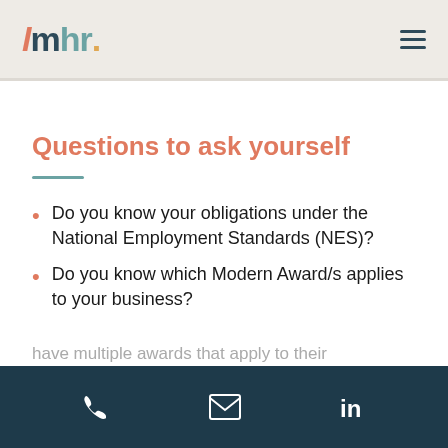lmhr.
Questions to ask yourself
Do you know your obligations under the National Employment Standards (NES)?
Do you know which Modern Award/s applies to your business?
have multiple awards that apply to their
phone | email | linkedin